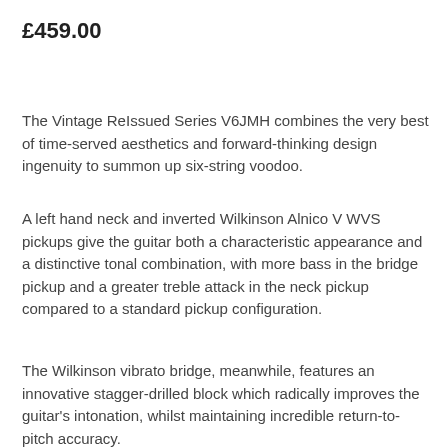£459.00
The Vintage ReIssued Series V6JMH combines the very best of time-served aesthetics and forward-thinking design ingenuity to summon up six-string voodoo.
A left hand neck and inverted Wilkinson Alnico V WVS pickups give the guitar both a characteristic appearance and a distinctive tonal combination, with more bass in the bridge pickup and a greater treble attack in the neck pickup compared to a standard pickup configuration.
The Wilkinson vibrato bridge, meanwhile, features an innovative stagger-drilled block which radically improves the guitar's intonation, whilst maintaining incredible return-to-pitch accuracy.